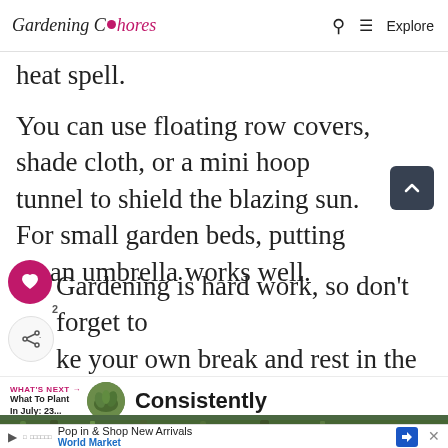Gardening Chores — Search — Explore
heat spell.
You can use floating row covers, shade cloth, or a mini hoop tunnel to shield the blazing sun. For small garden beds, putting up an umbrella works well.
Gardening is hard work, so don't forget to ke your own break and rest in the ade.
WHAT'S NEXT → What To Plant In July: 23... Consistently
[Figure (screenshot): Advertisement banner: Pop in & Shop New Arrivals — World Market]